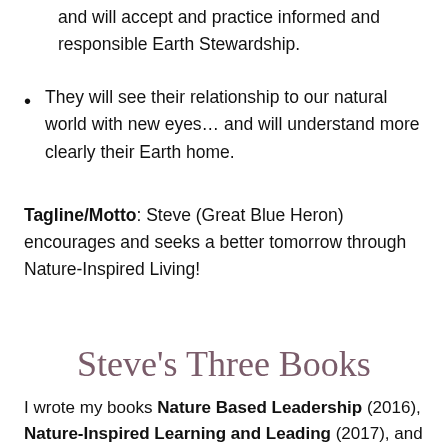and will accept and practice informed and responsible Earth Stewardship.
They will see their relationship to our natural world with new eyes… and will understand more clearly their Earth home.
Tagline/Motto: Steve (Great Blue Heron) encourages and seeks a better tomorrow through Nature-Inspired Living!
Steve's Three Books
I wrote my books Nature Based Leadership (2016), Nature-Inspired Learning and Leading (2017), and Weaned Seals and Snowy Summits: Stories of Passion for Place and Everyday